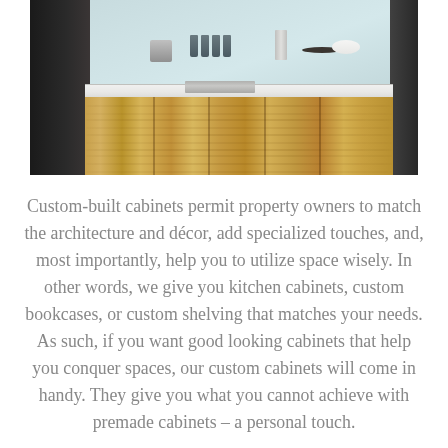[Figure (photo): Modern kitchen with custom wooden cabinets featuring a natural wood grain finish in warm golden tones, white countertops, stainless steel sink, and various items on the counter including bowls, glasses, and fruit. Dark floor, glass backsplash in light blue-green.]
Custom-built cabinets permit property owners to match the architecture and décor, add specialized touches, and, most importantly, help you to utilize space wisely. In other words, we give you kitchen cabinets, custom bookcases, or custom shelving that matches your needs. As such, if you want good looking cabinets that help you conquer spaces, our custom cabinets will come in handy. They give you what you cannot achieve with premade cabinets – a personal touch.